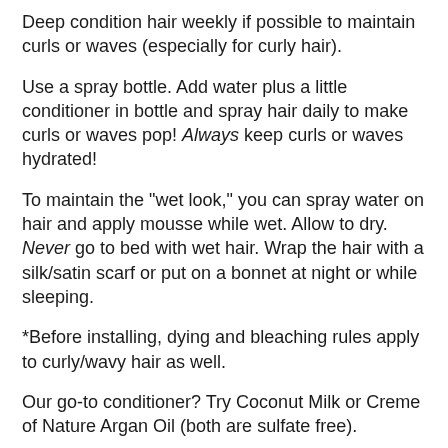Deep condition hair weekly if possible to maintain curls or waves (especially for curly hair).
Use a spray bottle. Add water plus a little conditioner in bottle and spray hair daily to make curls or waves pop! Always keep curls or waves hydrated!
To maintain the "wet look," you can spray water on hair and apply mousse while wet. Allow to dry. Never go to bed with wet hair. Wrap the hair with a silk/satin scarf or put on a bonnet at night or while sleeping.
*Before installing, dying and bleaching rules apply to curly/wavy hair as well.
Our go-to conditioner? Try Coconut Milk or Creme of Nature Argan Oil (both are sulfate free).